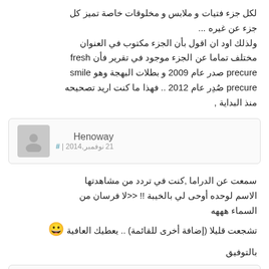لكل جزء فتيات و ملابس و مخلوقات خاصة تميز كل جزء عن غيره ... ولذلك اود ان اقول بأن الجزء مكتوب في العنوان مختلف تماما عن الجزء موجود في تقرير فأن fresh precure صدر عام 2009 و بطلات البهجة وهو smile precure صُدِر عام 2012 .. فهذا ما كنت اريد تصحيحه منذ البداية ,
Henoway
21 نوفمبر,2014 | #
سمعت عن الدراما ,كنت في تردد من مشاهدتها الاسم لوحده أوحى لي بالخيبة !! <<لا فرسان من السماء هههه تشجعت قليلا (إضافة أخرى للقائمة) .. يعطيك العافية 😀
بالتوفيق